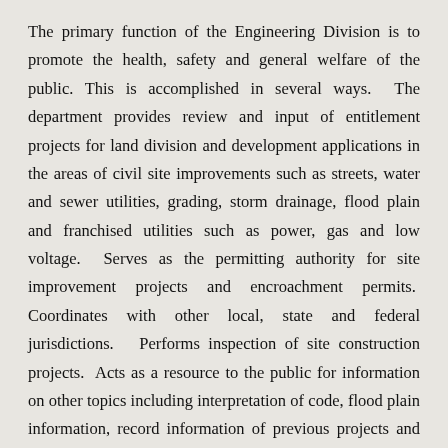The primary function of the Engineering Division is to promote the health, safety and general welfare of the public. This is accomplished in several ways. The department provides review and input of entitlement projects for land division and development applications in the areas of civil site improvements such as streets, water and sewer utilities, grading, storm drainage, flood plain and franchised utilities such as power, gas and low voltage. Serves as the permitting authority for site improvement projects and encroachment permits. Coordinates with other local, state and federal jurisdictions. Performs inspection of site construction projects. Acts as a resource to the public for information on other topics including interpretation of code, flood plain information, record information of previous projects and utility mapping. The department also works directly and directly are providing assistance to other service providers.